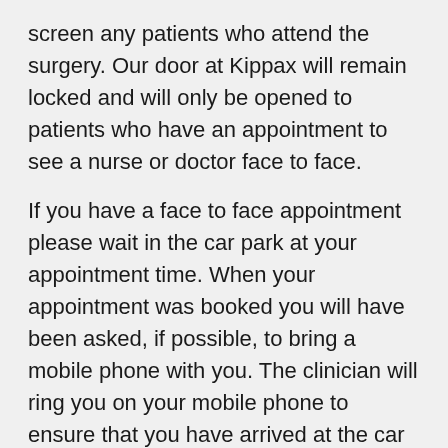screen any patients who attend the surgery. Our door at Kippax will remain locked and will only be opened to patients who have an appointment to see a nurse or doctor face to face.
If you have a face to face appointment please wait in the car park at your appointment time. When your appointment was booked you will have been asked, if possible, to bring a mobile phone with you. The clinician will ring you on your mobile phone to ensure that you have arrived at the car park. The clinician will then message the receptionist at our front door to ask them to open it for you.
On arrival in the building, you will be asked to use a hand sanitiser. We would also ask that you wear a face mask. The receptionist will direct you to the doctor or nurse's room.
We will try to ring you on your mobile at your